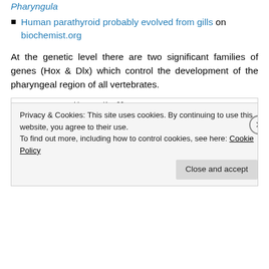Pharyngula
Human parathyroid probably evolved from gills on biochemist.org
At the genetic level there are two significant families of genes (Hox & Dlx) which control the development of the pharyngeal region of all vertebrates.
[Figure (illustration): Diagram labeled A showing rhombomere segments (r1-r5) of a vertebrate embryo brain, with Hox gene expression domains (Hoxa2, Hoxb2, Hoxb3, Hoxa3) shown as colored bars, Krox20 and mhb markers, and Otx2 domain indicated.]
Privacy & Cookies: This site uses cookies. By continuing to use this website, you agree to their use.
To find out more, including how to control cookies, see here: Cookie Policy
Close and accept